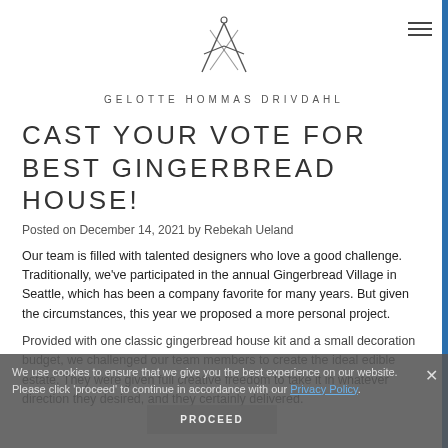[Figure (logo): Gelotte Hommas Drivdahl architectural firm logo — crossed drawing compass/ruler symbol]
GELOTTE HOMMAS DRIVDAHL
CAST YOUR VOTE FOR BEST GINGERBREAD HOUSE!
Posted on December 14, 2021 by Rebekah Ueland
Our team is filled with talented designers who love a good challenge. Traditionally, we've participated in the annual Gingerbread Village in Seattle, which has been a company favorite for many years. But given the circumstances, this year we proposed a more personal project.
Provided with one classic gingerbread house kit and a small decoration budget, we challenged our team members to create the ideal edible estate. They were given full creative freedom to take it in whatever direction they desired, and they certainly delivered.
We use cookies to ensure that we give you the best experience on our website. Please click 'proceed' to continue in accordance with our Privacy Policy.
PROCEED